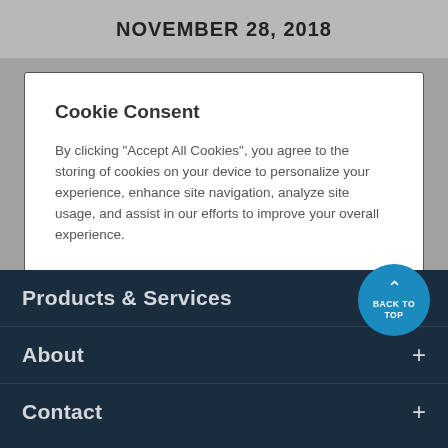NOVEMBER 28, 2018
Cookie Consent
By clicking “Accept All Cookies”, you agree to the storing of cookies on your device to personalize your experience, enhance site navigation, analyze site usage, and assist in our efforts to improve your overall experience.
Cookie Preferences
Accept All Cookies
Products & Services
About
Contact